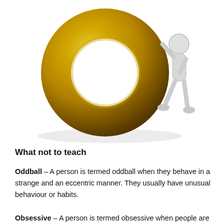[Figure (illustration): 3D render of a golden letter O with a white humanoid figure leaning against it on the right side, on a white background with a subtle shadow beneath.]
What not to teach
Oddball – A person is termed oddball when they behave in a strange and an eccentric manner. They usually have unusual behaviour or habits.
Obsessive – A person is termed obsessive when people are very